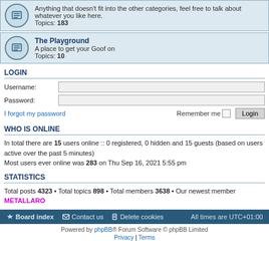Anything that doesn't fit into the other categories, feel free to talk about whatever you like here. Topics: 183
The Playground — A place to get your Goof on. Topics: 10
LOGIN
Username:
Password:
I forgot my password    Remember me  Login
WHO IS ONLINE
In total there are 15 users online :: 0 registered, 0 hidden and 15 guests (based on users active over the past 5 minutes)
Most users ever online was 283 on Thu Sep 16, 2021 5:55 pm
STATISTICS
Total posts 4323 • Total topics 898 • Total members 3638 • Our newest member METALLARO
Board index   Contact us   Delete cookies   All times are UTC+01:00
Powered by phpBB® Forum Software © phpBB Limited
Privacy | Terms